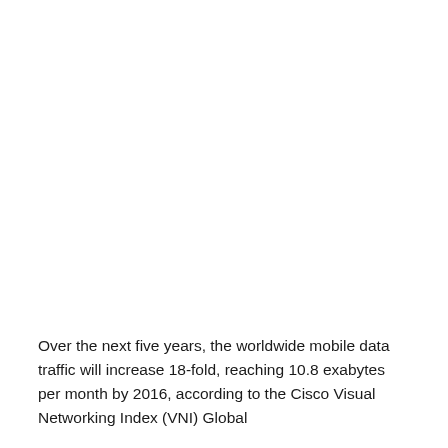Over the next five years, the worldwide mobile data traffic will increase 18-fold, reaching 10.8 exabytes per month by 2016, according to the Cisco Visual Networking Index (VNI) Global